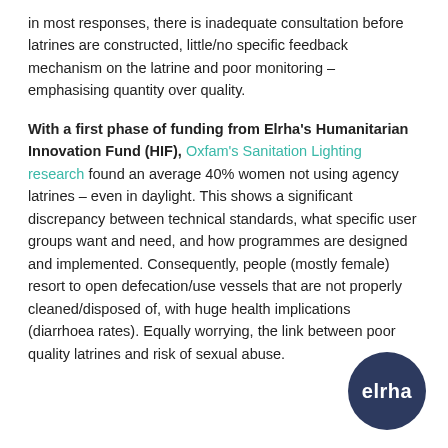in most responses, there is inadequate consultation before latrines are constructed, little/no specific feedback mechanism on the latrine and poor monitoring – emphasising quantity over quality.
With a first phase of funding from Elrha's Humanitarian Innovation Fund (HIF), Oxfam's Sanitation Lighting research found an average 40% women not using agency latrines – even in daylight. This shows a significant discrepancy between technical standards, what specific user groups want and need, and how programmes are designed and implemented. Consequently, people (mostly female) resort to open defecation/use vessels that are not properly cleaned/disposed of, with huge health implications (diarrhoea rates). Equally worrying, the link between poor quality latrines and risk of sexual abuse.
[Figure (logo): Elrha circular logo — dark navy circle with white 'elrha' text]